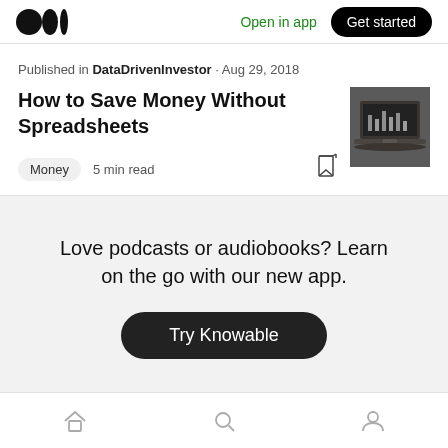Open in app  Get started
Published in DataDrivenInvestor · Aug 29, 2018
How to Save Money Without Spreadsheets
Money  5 min read
[Figure (photo): Thumbnail image of a laptop showing charts/graphs on screen]
Love podcasts or audiobooks? Learn on the go with our new app.
Try Knowable
Home  Search  Profile